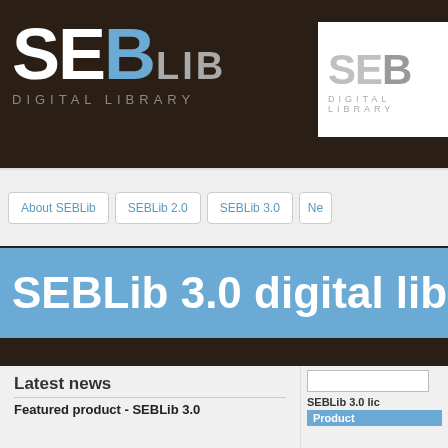[Figure (screenshot): SEBLib digital library website screenshot showing logo, navigation bar with About SEBLib, SEBLib 2.0, SEBLib 3.0 buttons, a blue banner reading SEBLib 3.0 digital library, and a Latest news section with Featured product - SEBLib 3.0 content.]
SEBLib 3.0 digital library
Latest news
Featured product - SEBLib 3.0
Manage books, audio and video content on your company intranet portal. Include external learning material to empower your teams.
Localized SharePoint solution
(Arabic, Dutch, English, French, German, Italian,
SEBLib 3.0 lic
Product
SEBLib 3.0
SEBLib 3.0